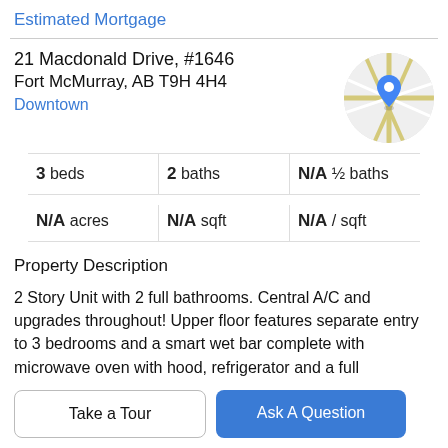Estimated Mortgage
21 Macdonald Drive, #1646
Fort McMurray, AB T9H 4H4
Downtown
[Figure (map): Circular cropped map thumbnail showing road layout with a blue location pin marker in Fort McMurray.]
| 3 beds | 2 baths | N/A ½ baths |
| N/A acres | N/A sqft | N/A / sqft |
Property Description
2 Story Unit with 2 full bathrooms. Central A/C and upgrades throughout! Upper floor features separate entry to 3 bedrooms and a smart wet bar complete with microwave oven with hood, refrigerator and a full
bathroom. This area has some unique features to further
Take a Tour
Ask A Question